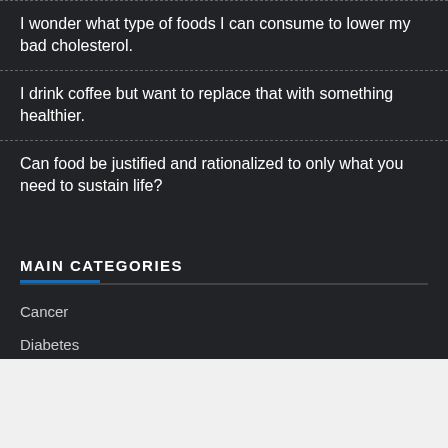I wonder what type of foods I can consume to lower my bad cholesterol.
I drink coffee but want to replace that with something healthier.
Can food be justified and rationalized to only what you need to sustain life?
MAIN CATEGORIES
Cancer
Diabetes